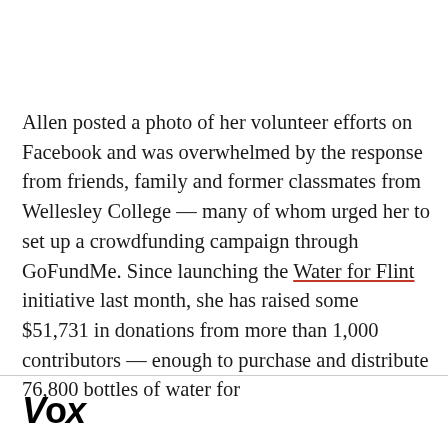Allen posted a photo of her volunteer efforts on Facebook and was overwhelmed by the response from friends, family and former classmates from Wellesley College — many of whom urged her to set up a crowdfunding campaign through GoFundMe. Since launching the Water for Flint initiative last month, she has raised some $51,731 in donations from more than 1,000 contributors — enough to purchase and distribute 76,800 bottles of water for
Vox